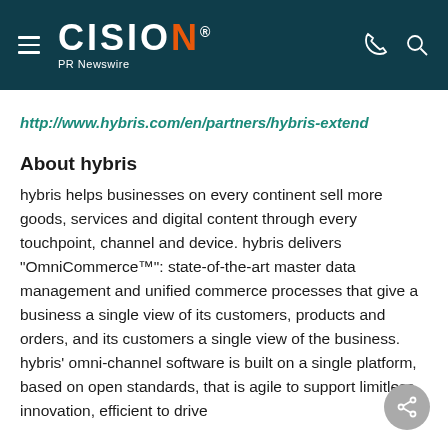CISION PR Newswire
http://www.hybris.com/en/partners/hybris-extend
About hybris
hybris helps businesses on every continent sell more goods, services and digital content through every touchpoint, channel and device. hybris delivers "OmniCommerce™": state-of-the-art master data management and unified commerce processes that give a business a single view of its customers, products and orders, and its customers a single view of the business. hybris' omni-channel software is built on a single platform, based on open standards, that is agile to support limitless innovation, efficient to drive